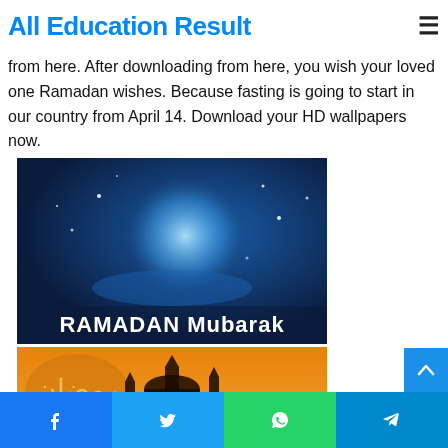All Education Result
from here. After downloading from here, you wish your loved one Ramadan wishes. Because fasting is going to start in our country from April 14. Download your HD wallpapers now.
[Figure (photo): Ramadan Mubarak greeting image with a glowing crescent moon on a blue starry night background, text reads RAMADAN Mubarak]
[Figure (photo): Ramadan greeting image with mosque silhouettes and minarets on an orange sunset background with Arabic calligraphy]
Share buttons: Facebook, Twitter, WhatsApp, Telegram